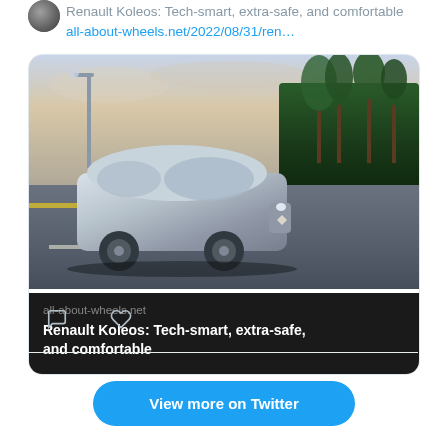Renault Koleos: Tech-smart, extra-safe, and comfortable all-about-wheels.net/2022/08/31/ren…
[Figure (photo): Renault Koleos SUV driving on a road with palm trees and greenery in background, twilight sky. Overlay shows all-about-wheels.net domain and title 'Renault Koleos: Tech-smart, extra-safe, and comfortable']
View more on Twitter